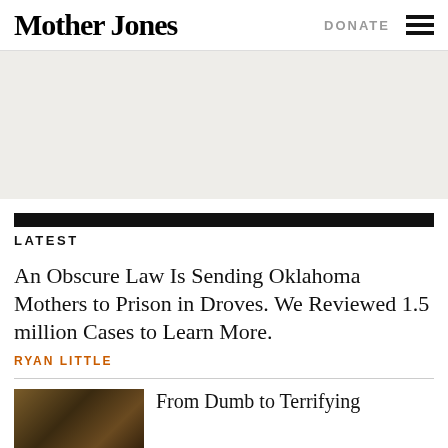Mother Jones | DONATE
[Figure (other): Gray advertisement placeholder area]
LATEST
An Obscure Law Is Sending Oklahoma Mothers to Prison in Droves. We Reviewed 1.5 million Cases to Learn More.
RYAN LITTLE
[Figure (photo): Thumbnail photo with warm brown tones, partially visible]
From Dumb to Terrifying